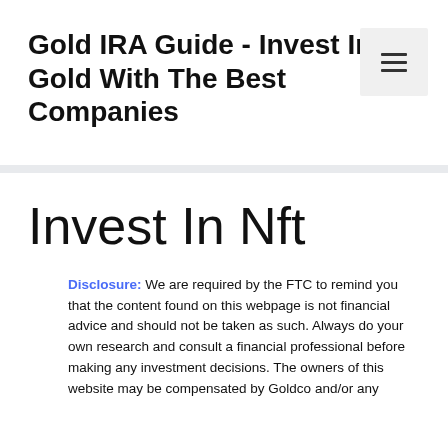Gold IRA Guide - Invest In Gold With The Best Companies
Invest In Nft
Disclosure: We are required by the FTC to remind you that the content found on this webpage is not financial advice and should not be taken as such. Always do your own research and consult a financial professional before making any investment decisions. The owners of this website may be compensated by Goldco and/or any